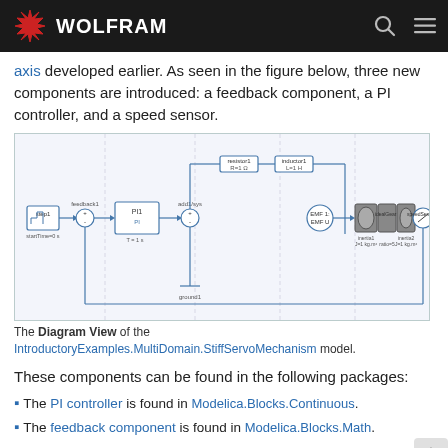WOLFRAM
axis developed earlier. As seen in the figure below, three new components are introduced: a feedback component, a PI controller, and a speed sensor.
[Figure (engineering-diagram): Diagram View of the IntroductoryExamples.MultiDomain.StiffServoMechanism model, showing a block diagram with step input, feedback component, PI controller, electrical components (resistor R=1Ω, inductor L=1H), EMF, motor axis, idealGear, inertia components, and speedSensor.]
The Diagram View of the IntroductoryExamples.MultiDomain.StiffServoMechanism model.
These components can be found in the following packages:
The PI controller is found in Modelica.Blocks.Continuous.
The feedback component is found in Modelica.Blocks.Math.
The speed sensor is found in Modelica.Mechanics.Rotational.Sensors.
When simulating this model, we will pay attention to the response in angular velocity of both the motor axis and the gear axis shown in the